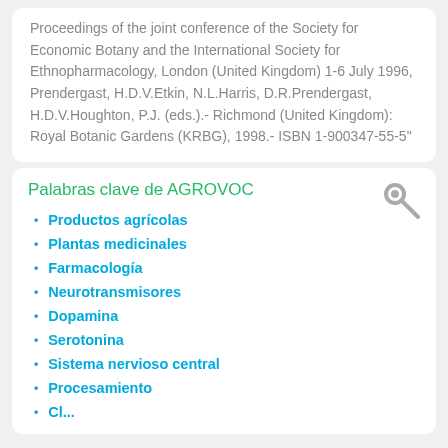Proceedings of the joint conference of the Society for Economic Botany and the International Society for Ethnopharmacology, London (United Kingdom) 1-6 July 1996, Prendergast, H.D.V.Etkin, N.L.Harris, D.R.Prendergast, H.D.V.Houghton, P.J. (eds.).- Richmond (United Kingdom): Royal Botanic Gardens (KRBG), 1998.- ISBN 1-900347-55-5"
Palabras clave de AGROVOC
Productos agrícolas
Plantas medicinales
Farmacología
Neurotransmisores
Dopamina
Serotonina
Sistema nervioso central
Procesamiento
Cl...